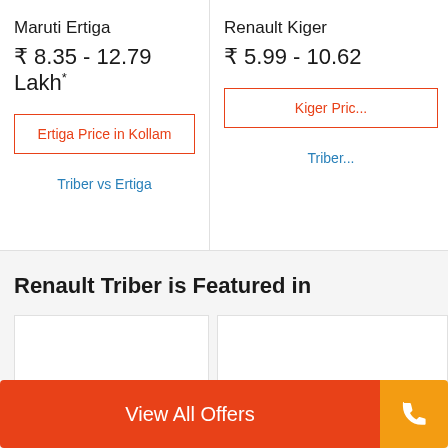Maruti Ertiga
₹ 8.35 - 12.79 Lakh*
Ertiga Price in Kollam
Triber vs Ertiga
Renault Kiger
₹ 5.99 - 10.62
Kiger Pric...
Triber...
Renault Triber is Featured in
View All Offers